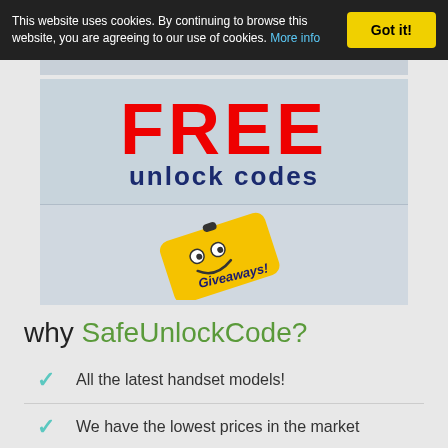This website uses cookies. By continuing to browse this website, you are agreeing to our use of cookies. More info
[Figure (illustration): FREE unlock codes banner in red and dark blue text on light blue background]
[Figure (illustration): Yellow phone-shaped giveaway badge with smiley face and 'Giveaways!' text, tilted]
why SafeUnlockCode?
All the latest handset models!
We have the lowest prices in the market
Fast code delivery via Email!